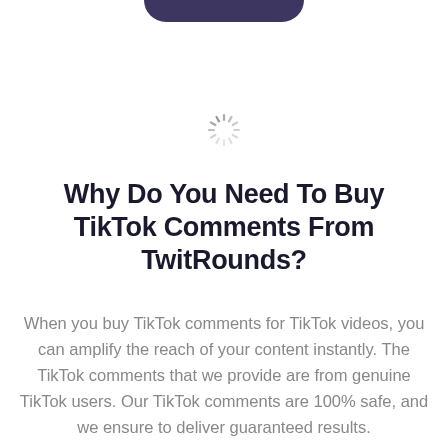[Figure (other): Partial dark rounded button visible at top of page, cut off at top edge]
[Figure (other): Loading spinner icon (circular dashes in gray), centered on page]
Why Do You Need To Buy TikTok Comments From TwitRounds?
When you buy TikTok comments for TikTok videos, you can amplify the reach of your content instantly. The TikTok comments that we provide are from genuine TikTok users. Our TikTok comments are 100% safe, and we ensure to deliver guaranteed results.